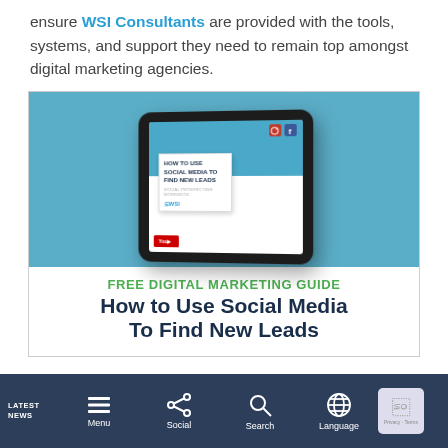ensure WSI Consultants are provided with the tools, systems, and support they need to remain top amongst digital marketing agencies.
[Figure (infographic): Advertisement card for a free digital marketing guide titled 'How to Use Social Media To Find New Leads' by WSI, featuring a tablet mockup with social media icons, green heading 'FREE DIGITAL MARKETING GUIDE', and dark blue subheading text.]
LATEST NEWS  Menu  Social  Search  Language